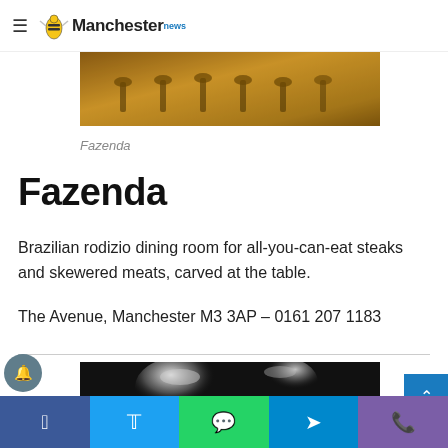Manchester news
[Figure (photo): Interior of Fazenda restaurant showing bar stools and warm golden lighting]
Fazenda
Fazenda
Brazilian rodizio dining room for all-you-can-eat steaks and skewered meats, carved at the table.
The Avenue, Manchester M3 3AP – 0161 207 1183
[Figure (photo): Interior of restaurant with chandeliers and dark decor]